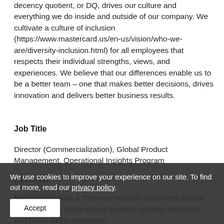decency quotient, or DQ, drives our culture and everything we do inside and outside of our company. We cultivate a culture of inclusion (https://www.mastercard.us/en-us/vision/who-we-are/diversity-inclusion.html) for all employees that respects their individual strengths, views, and experiences. We believe that our differences enable us to be a better team – one that makes better decisions, drives innovation and delivers better business results.
Job Title
Director (Commercialization), Global Product Management, Operational Insights Program
Overview
MasterCard Data & Services enables customers across industries and geographies to make smarter decisions and reach better outcomes